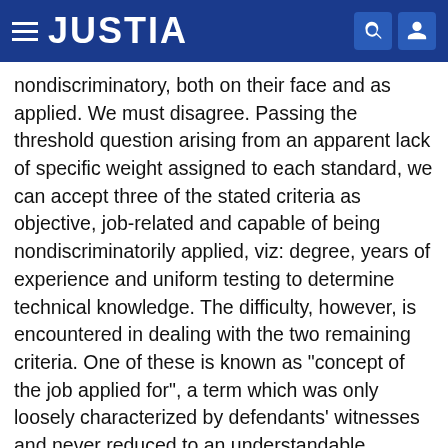JUSTIA
nondiscriminatory, both on their face and as applied. We must disagree. Passing the threshold question arising from an apparent lack of specific weight assigned to each standard, we can accept three of the stated criteria as objective, job-related and capable of being nondiscriminatorily applied, viz: degree, years of experience and uniform testing to determine technical knowledge. The difficulty, however, is encountered in dealing with the two remaining criteria. One of these is known as "concept of the job applied for", a term which was only loosely characterized by defendants' witnesses and never reduced to an understandable formula; as such it is a criterion quite incapable of uniform administration and readily susceptible to bias. Even more noteworthy, the so-called "objective appraisal of job performance"admittedly the most significant of all five criteriais based upon scores received by